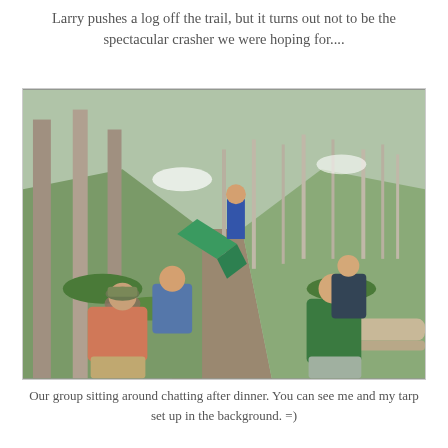Larry pushes a log off the trail, but it turns out not to be the spectacular crasher we were hoping for....
[Figure (photo): Outdoor hiking scene showing a group of people sitting around chatting on a trail in a forested mountain area. People are seated on logs and the ground. In the background, a green tarp is set up between trees with snow patches visible. Trees are tall and sparse on a hillside.]
Our group sitting around chatting after dinner. You can see me and my tarp set up in the background. =)